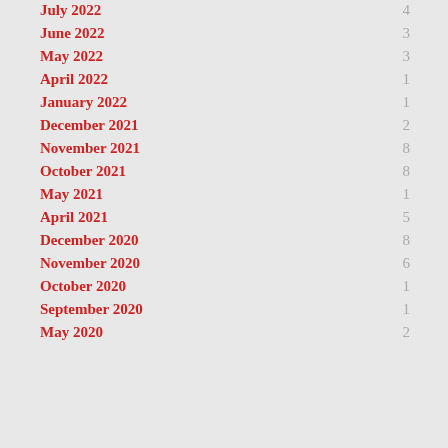July 2022 — 4
June 2022 — 3
May 2022 — 3
April 2022 — 1
January 2022 — 1
December 2021 — 2
November 2021 — 8
October 2021 — 8
May 2021 — 1
April 2021 — 5
December 2020 — 8
November 2020 — 6
October 2020 — 1
September 2020 — 1
May 2020 — 2